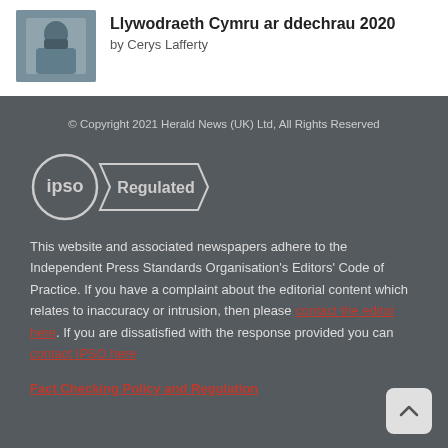[Figure (photo): Small article thumbnail showing a person wearing a mask, outdoors]
Llywodraeth Cymru ar ddechrau 2020
by Cerys Lafferty
© Copyright 2021 Herald News (UK) Ltd, All Rights Reserved
[Figure (logo): IPSO Regulated logo — circle with 'ipso' text and a banner reading 'Regulated']
This website and associated newspapers adhere to the Independent Press Standards Organisation's Editors' Code of Practice. If you have a complaint about the editorial content which relates to inaccuracy or intrusion, then please contact the editor here. If you are dissatisfied with the response provided you can contact IPSO here
Fact Checking Policy and Regulation